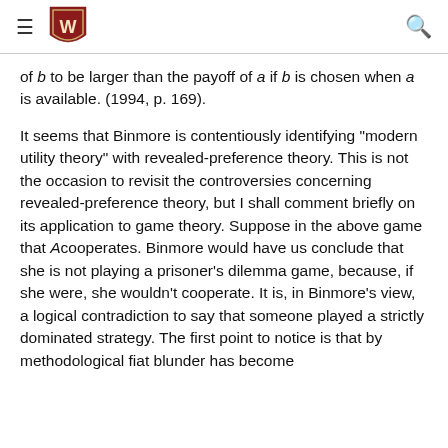University of Wisconsin-Madison navigation header
of b to be larger than the payoff of a if b is chosen when a is available. (1994, p. 169).
It seems that Binmore is contentiously identifying "modern utility theory" with revealed-preference theory. This is not the occasion to revisit the controversies concerning revealed-preference theory, but I shall comment briefly on its application to game theory. Suppose in the above game that A cooperates. Binmore would have us conclude that she is not playing a prisoner's dilemma game, because, if she were, she wouldn't cooperate. It is, in Binmore's view, a logical contradiction to say that someone played a strictly dominated strategy. The first point to notice is that by methodological fiat blunder has become